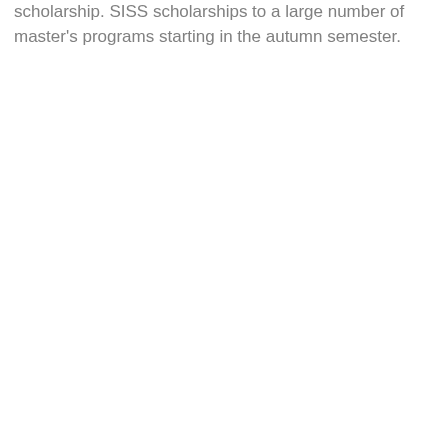scholarship. SISS scholarships to a large number of master's programs starting in the autumn semester.